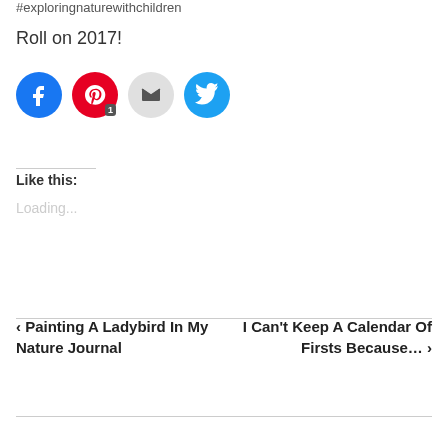#exploringnaturewithchildren
Roll on 2017!
[Figure (other): Social share buttons: Facebook (blue circle), Pinterest (red circle with badge '1'), Email (gray circle), Twitter (cyan circle)]
Like this:
Loading...
‹ Painting A Ladybird In My Nature Journal
I Can't Keep A Calendar Of Firsts Because… ›